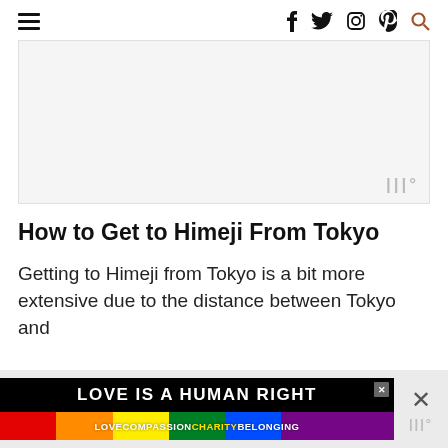Navigation bar with hamburger menu and social icons (f, twitter, instagram, pinterest, search)
[Figure (other): Advertisement placeholder box, light grey background with watermark icon in bottom right]
How to Get to Himeji From Tokyo
Getting to Himeji from Tokyo is a bit more extensive due to the distance between Tokyo and
[Figure (other): LOVE IS A HUMAN RIGHT banner advertisement with rainbow stripe and text LOVECOMPASSIONCHARITYBELONGING]